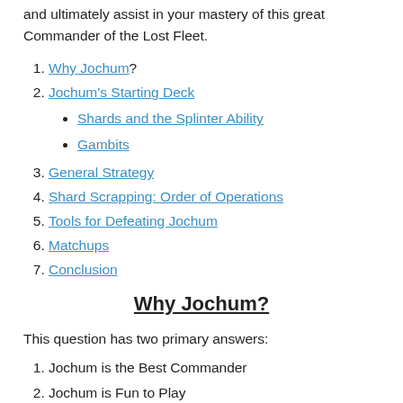and ultimately assist in your mastery of this great Commander of the Lost Fleet.
Why Jochum?
Jochum's Starting Deck
Shards and the Splinter Ability
Gambits
General Strategy
Shard Scrapping: Order of Operations
Tools for Defeating Jochum
Matchups
Conclusion
Why Jochum?
This question has two primary answers:
Jochum is the Best Commander
Jochum is Fun to Play